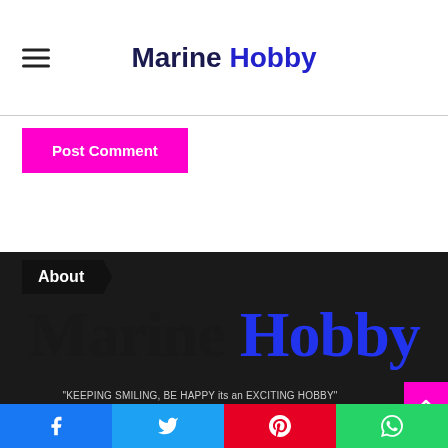Marine Hobby
Post Comment
About
Marine Hobby
“KEEPING SMILING, BE HAPPY its an EXCITING HOBBY”